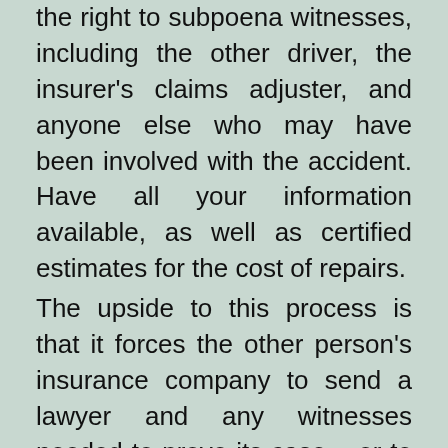the right to subpoena witnesses, including the other driver, the insurer's claims adjuster, and anyone else who may have been involved with the accident. Have all your information available, as well as certified estimates for the cost of repairs.
The upside to this process is that it forces the other person's insurance company to send a lawyer and any witnesses needed to prove its case – or to dispute the amount of the lawsuit – to court. This could lead to settlement talks.
At the Scene of an Accident